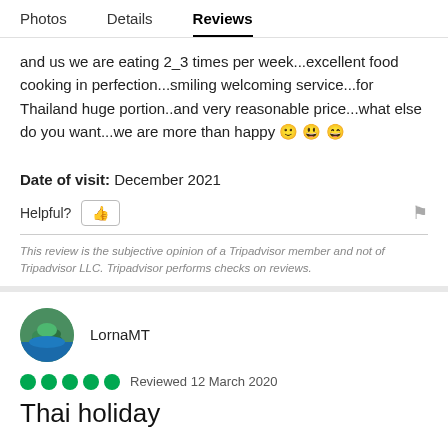Photos   Details   Reviews
and us we are eating 2_3 times per week...excellent food cooking in perfection...smiling welcoming service...for Thailand huge portion..and very reasonable price...what else do you want...we are more than happy 🙂 😀 😁
Date of visit: December 2021
Helpful? 👍
This review is the subjective opinion of a Tripadvisor member and not of Tripadvisor LLC. Tripadvisor performs checks on reviews.
LornaMT
Reviewed 12 March 2020
Thai holiday